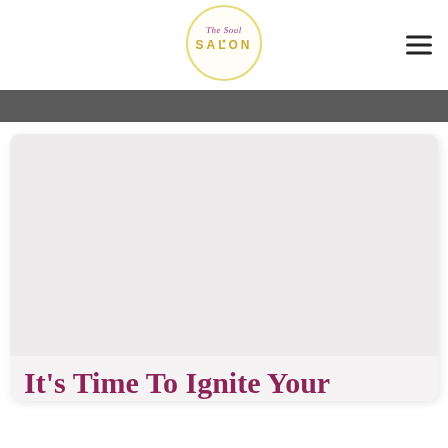The Soul Salon
[Figure (logo): The Soul Salon circular logo with script and serif text, golden circle border]
[Figure (illustration): Dark grey horizontal banner bar]
[Figure (photo): Light grey/beige rectangular image area inside a card]
It's Time To Ignite Your